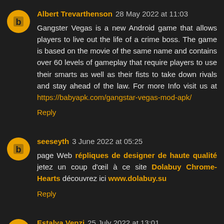Albert Trevarthenson 28 May 2022 at 11:03
Gangster Vegas is a new Android game that allows players to live out the life of a crime boss. The game is based on the movie of the same name and contains over 60 levels of gameplay that require players to use their smarts as well as their fists to take down rivals and stay ahead of the law. For more Info visit us at https://babyapk.com/gangstar-vegas-mod-apk/
Reply
seeseyth 3 June 2022 at 05:25
page Web répliques de designer de haute qualité jetez un coup d'œil à ce site Dolabuy Chrome-Hearts découvrez ici www.dolabuy.su
Reply
Estalya Venzi 25 July 2022 at 13:01